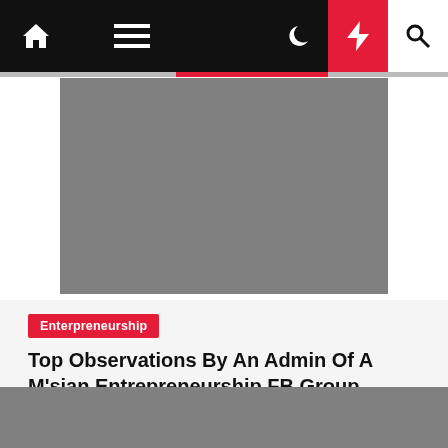Navigation bar with home, menu, moon, bolt, search icons
[Figure (photo): Gray placeholder image at top of article]
Enterpreneurship
Top Observations By An Admin Of A M'sian Entrepreneurship FB Group...
Keli W. Rodriguez  2 years ago
[Figure (photo): Gray placeholder image at bottom of page]